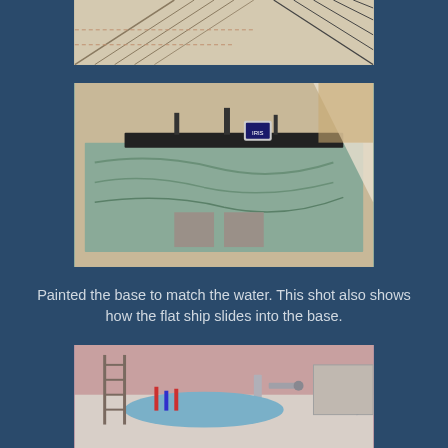[Figure (photo): Close-up photo of ship rigging/ropes and grid lines on a paper/fabric background]
[Figure (photo): Photo showing a painted base resembling water with a flat ship model sliding into a slot in the base, set on a pink/beige carpet]
Painted the base to match the water. This shot also shows how the flat ship slides into the base.
[Figure (photo): Photo of what appears to be a model ship or craft project on a surface with pink walls in background]